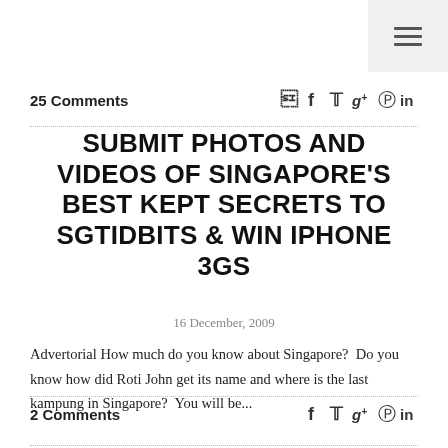25 Comments
SUBMIT PHOTOS AND VIDEOS OF SINGAPORE'S BEST KEPT SECRETS TO SGTIDBITS & WIN IPHONE 3GS
16 December, 2009
Advertorial How much do you know about Singapore?  Do you know how did Roti John get its name and where is the last kampung in Singapore?  You will be...
2 Comments